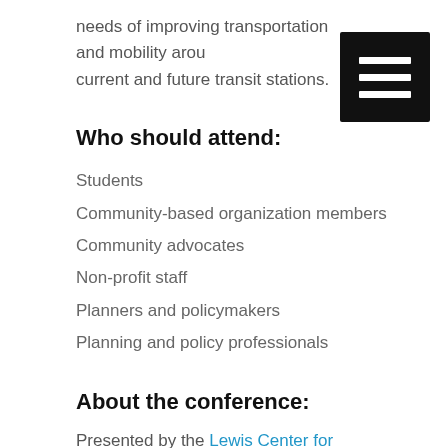needs of improving transportation and mobility around current and future transit stations.
[Figure (other): Black square menu icon with three horizontal white bars]
Who should attend:
Students
Community-based organization members
Community advocates
Non-profit staff
Planners and policymakers
Planning and policy professionals
About the conference:
Presented by the Lewis Center for Regional Policy Studies, InterActions LA is an annual conference dedicated to advancing regional growth and equity in Greater Los Angeles. Bringing together a diverse community from multiple sectors, this half-day event provides an